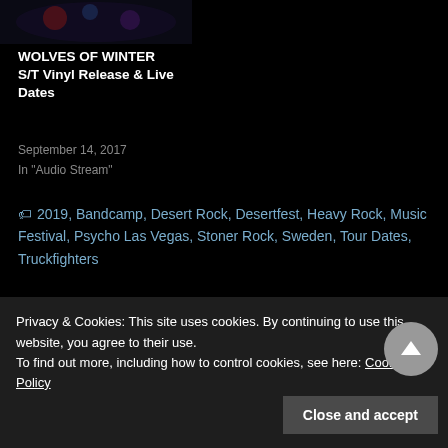[Figure (illustration): Partial view of an illustrated album/record cover art with dark fantasy imagery]
WOLVES OF WINTER S/T Vinyl Release & Live Dates
September 14, 2017
In "Audio Stream"
2019, Bandcamp, Desert Rock, Desertfest, Heavy Rock, Music Festival, Psycho Las Vegas, Stoner Rock, Sweden, Tour Dates, Truckfighters
« Exclusive: LEFT HAND PATH
Oldschool Sunday: ANACRUSIS »
Privacy & Cookies: This site uses cookies. By continuing to use this website, you agree to their use.
To find out more, including how to control cookies, see here: Cookie Policy
Close and accept